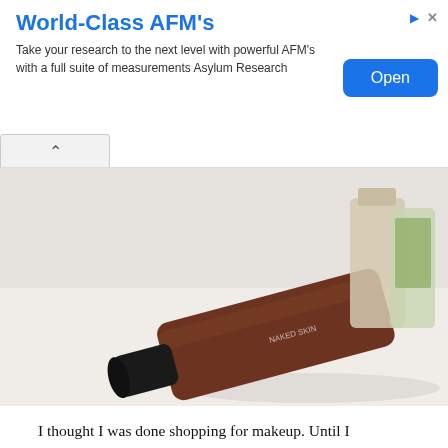World-Class AFM's
Take your research to the next level with powerful AFM's with a full suite of measurements Asylum Research
[Figure (photo): Photo of makeup products including a dark brown concealer tube with black tip lying on a light surface, with other cosmetic bottles in the background]
I thought I was done shopping for makeup. Until I remembered we were going to Singapore. Where there was Sephora. Where all my desires were satisfied and needs subdued. Suffice to say, the last three days of my holiday made me both beautiful and broke.
While I did buy a Naked Skin Concealer a few months ago, I discussed how it was too light for my skin. So I